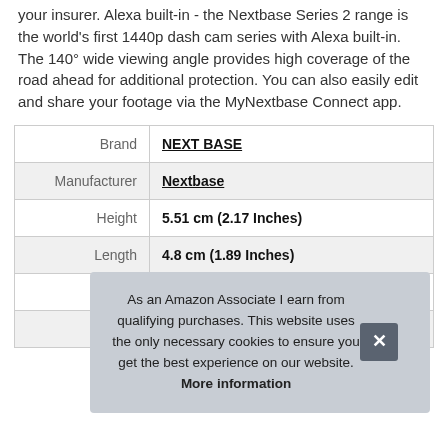your insurer. Alexa built-in - the Nextbase Series 2 range is the world's first 1440p dash cam series with Alexa built-in. The 140° wide viewing angle provides high coverage of the road ahead for additional protection. You can also easily edit and share your footage via the MyNextbase Connect app.
| Brand | NEXT BASE |
| Manufacturer | Nextbase |
| Height | 5.51 cm (2.17 Inches) |
| Length | 4.8 cm (1.89 Inches) |
| Weight | 0.13 kg (0.28 Pounds) |
| P |  |
As an Amazon Associate I earn from qualifying purchases. This website uses the only necessary cookies to ensure you get the best experience on our website. More information